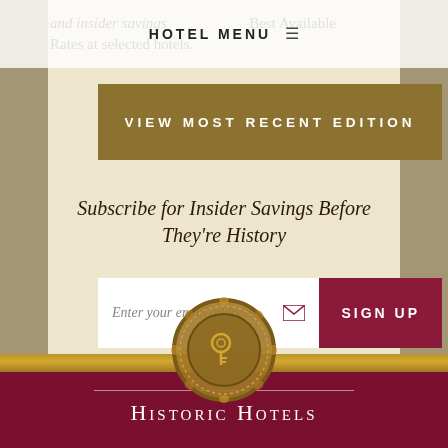HOTEL MENU
and insider savings ... Best Available Rates at selected hotels.
VIEW MOST RECENT EDITION
Subscribe for Insider Savings Before They're History
Enter your email address
SIGN UP
[Figure (illustration): Gold wax seal with key emblem]
Historic Hotels of America